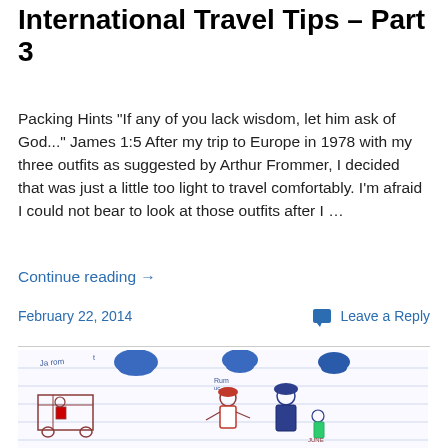International Travel Tips – Part 3
Packing Hints "If any of you lack wisdom, let him ask of God..." James 1:5 After my trip to Europe in 1978 with my three outfits as suggested by Arthur Frommer, I decided that was just a little too light to travel comfortably. I'm afraid I could not bear to look at those outfits after I …
Continue reading →
February 22, 2014
Leave a Reply
[Figure (illustration): A child's hand-drawn illustration showing people on a lined notebook page. Three blue hat/purse shapes appear at top with handwritten text 'Ja rem'. Below, cartoon figures of women and a child are drawn in pen, with one figure in a white dress and others in blue and red. A cart or stand is drawn on the left side.]